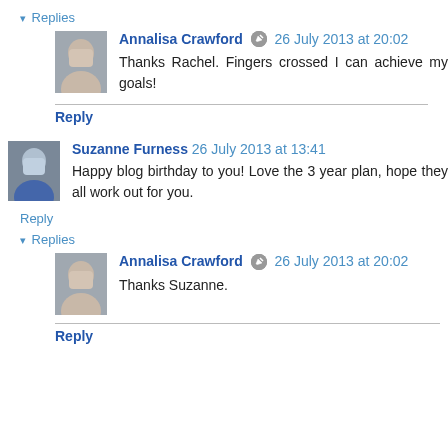▾ Replies
Annalisa Crawford 26 July 2013 at 20:02
Thanks Rachel. Fingers crossed I can achieve my goals!
Reply
Suzanne Furness 26 July 2013 at 13:41
Happy blog birthday to you! Love the 3 year plan, hope they all work out for you.
Reply
▾ Replies
Annalisa Crawford 26 July 2013 at 20:02
Thanks Suzanne.
Reply